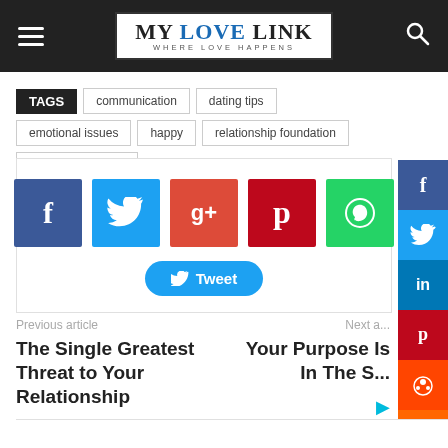MY LOVE LINK — WHERE LOVE HAPPENS
TAGS  communication  dating tips  emotional issues  happy  relationship foundation  Successful Dating
[Figure (infographic): Social share buttons: Facebook, Twitter, Google+, Pinterest, WhatsApp, and a Tweet button]
Previous article
The Single Greatest Threat to Your Relationship
Next article
Your Purpose Is In The S...